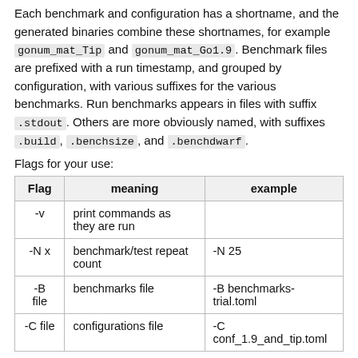Each benchmark and configuration has a shortname, and the generated binaries combine these shortnames, for example gonum_mat_Tip and gonum_mat_Go1.9. Benchmark files are prefixed with a run timestamp, and grouped by configuration, with various suffixes for the various benchmarks. Run benchmarks appears in files with suffix .stdout. Others are more obviously named, with suffixes .build, .benchsize, and .benchdwarf.
Flags for your use:
| Flag | meaning | example |
| --- | --- | --- |
| -v | print commands as they are run |  |
| -N x | benchmark/test repeat count | -N 25 |
| -B
file | benchmarks file | -B benchmarks-trial.toml |
| -C file | configurations file | -C
conf_1.9_and_tip.toml |